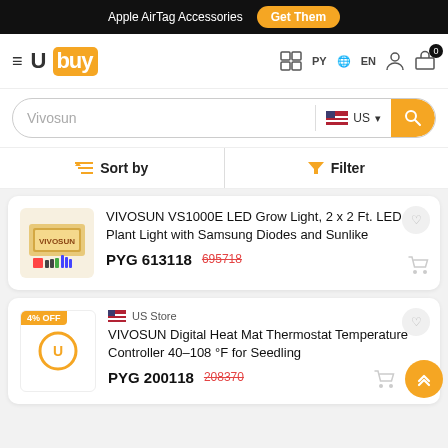Apple AirTag Accessories  Get Them
[Figure (logo): Ubuy logo with orange background on 'buy' portion]
Vivosun  US  EN
Sort by  Filter
VIVOSUN VS1000E LED Grow Light, 2 x 2 Ft. LED Plant Light with Samsung Diodes and Sunlike
PYG 613118  695718
4% OFF  US Store  VIVOSUN Digital Heat Mat Thermostat Temperature Controller 40-108 °F for Seedling
PYG 200118  208370